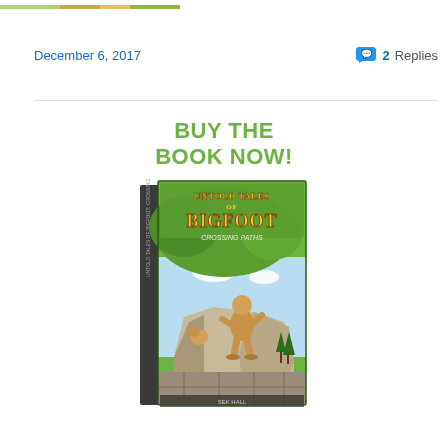[Figure (illustration): Partial image strip at top of page showing a cartoon/comic illustration]
December 6, 2017
2 Replies
[Figure (illustration): Book cover advertisement: BUY THE BOOK NOW! with image of the book 'Untold Tales of Bigfoot: Crossing Paths' showing a Bigfoot character on a cliff edge]